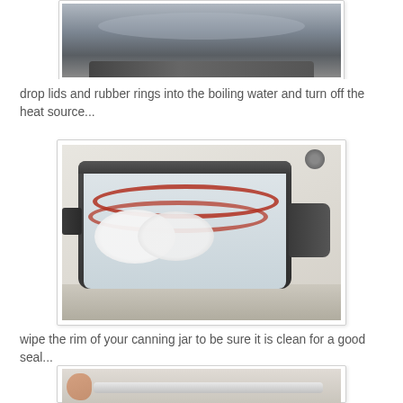[Figure (photo): Top-cropped photo of a dark pot with water on a stove, partially visible at top of page]
drop lids and rubber rings into the boiling water and turn off the heat source...
[Figure (photo): Dark non-stick saucepan on a white stove with white canning lids and red rubber rings submerged in hot water]
wipe the rim of your canning jar to be sure it is clean for a good seal...
[Figure (photo): Partially visible photo at the bottom showing fingers wiping the rim of a canning jar]